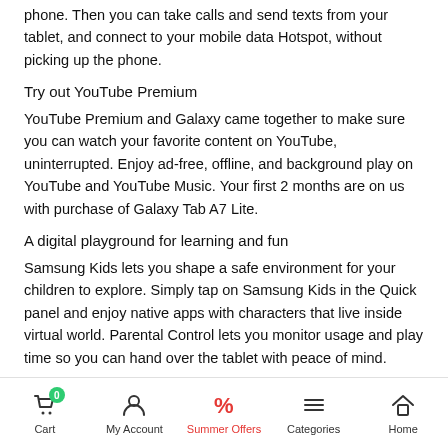phone. Then you can take calls and send texts from your tablet, and connect to your mobile data Hotspot, without picking up the phone.
Try out YouTube Premium
YouTube Premium and Galaxy came together to make sure you can watch your favorite content on YouTube, uninterrupted. Enjoy ad-free, offline, and background play on YouTube and YouTube Music. Your first 2 months are on us with purchase of Galaxy Tab A7 Lite.
A digital playground for learning and fun
Samsung Kids lets you shape a safe environment for your children to explore. Simply tap on Samsung Kids in the Quick panel and enjoy native apps with characters that live inside virtual world. Parental Control lets you monitor usage and play time so you can hand over the tablet with peace of mind.
Security at every level protects what's yours
Samsung Knox delivers defense-grade security. Your private
Cart  My Account  Summer Offers  Categories  Home